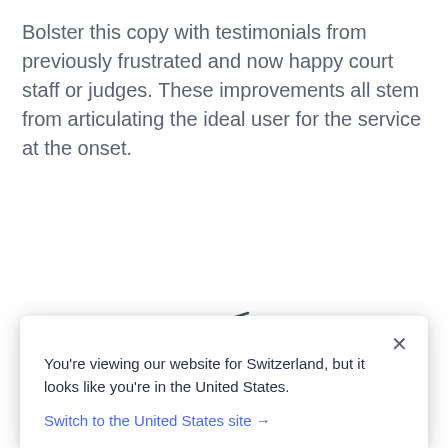Bolster this copy with testimonials from previously frustrated and now happy court staff or judges. These improvements all stem from articulating the ideal user for the service at the onset.
[Figure (illustration): Three diagonal parallel lines forming a stylized triple-line divider icon]
Take the first step with your landing page copy
You're viewing our website for Switzerland, but it looks like you're in the United States.
Switch to the United States site →
sells product—to anyone with an internet